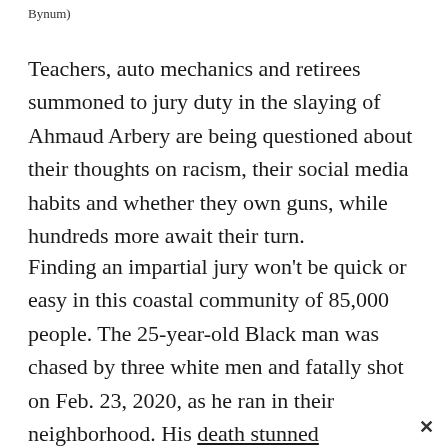Bynum)
Teachers, auto mechanics and retirees summoned to jury duty in the slaying of Ahmaud Arbery are being questioned about their thoughts on racism, their social media habits and whether they own guns, while hundreds more await their turn.
Finding an impartial jury won't be quick or easy in this coastal community of 85,000 people. The 25-year-old Black man was chased by three white men and fatally shot on Feb. 23, 2020, as he ran in their neighborhood. His death stunned people across the U.S. after graphic cellphone